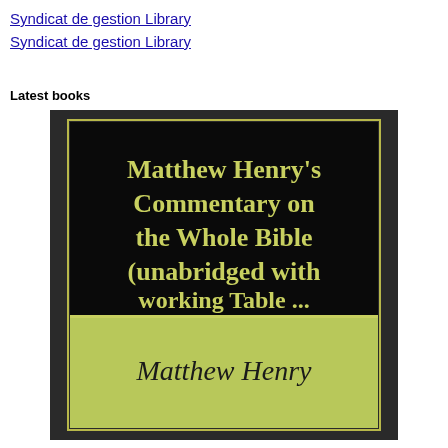Syndicat de gestion Library
Syndicat de gestion Library
Latest books
[Figure (illustration): Book cover for 'Matthew Henry's Commentary on the Whole Bible (unabridged with working Table ...' by Matthew Henry. Cover has a black upper portion with light green/yellow text showing the title, and a light green lower portion with the author name 'Matthew Henry' in dark italic text. The cover is framed with a thin dark border.]